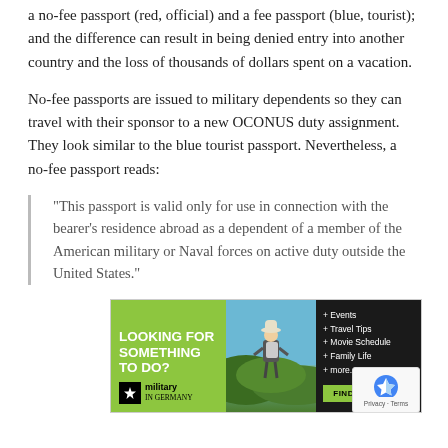a no-fee passport (red, official) and a fee passport (blue, tourist); and the difference can result in being denied entry into another country and the loss of thousands of dollars spent on a vacation.
No-fee passports are issued to military dependents so they can travel with their sponsor to a new OCONUS duty assignment. They look similar to the blue tourist passport. Nevertheless, a no-fee passport reads:
“This passport is valid only for use in connection with the bearer’s residence abroad as a dependent of a member of the American military or Naval forces on active duty outside the United States.”
[Figure (infographic): Advertisement for Military in Germany website. Green and black banner ad with text 'LOOKING FOR SOMETHING TO DO?' on the left in white bold text, a photo of a person with a backpack looking at a scenic view in the middle, and on the right a dark panel listing '+ Events + Travel Tips + Movie Schedule + Family Life + more...' with a green 'FIND OUT MORE' button. Military in Germany logo at bottom left.]